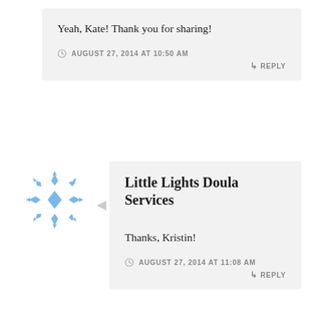Yeah, Kate! Thank you for sharing!
AUGUST 27, 2014 AT 10:50 AM
↳ REPLY
Little Lights Doula Services
Thanks, Kristin!
AUGUST 27, 2014 AT 11:08 AM
↳ REPLY